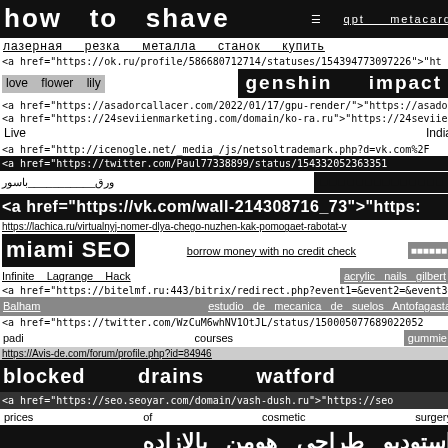how   to   shave    qpt   metacard
лазерная   резка   металла   станок   купить
<a href="https://ok.ru/profile/586680712714/statuses/154394773097226">"ht
love   flower   lily   genshin   impact
<a href="https://asadorcallacer.com/2022/01/17/gpu-render/">"https://asadorc
<a href="https://24seviienmarketing.com/domain/ko-ra.ru">"https://24seviienm
Live   India
<a href="http://icenogle.net/_media_/js/netsoltrademark.php?d=vk.com%2F
<a href="https://twitter.com/Paul77338899/status/154332052363351
ورق___________باسور   ☐☐☐☐☐☐☐☐☐☐☐☐☐☐☐☐
<a href="https://vk.com/wall-214308716_73">"https:
https://lachica.ru/virtualnyj-nomer-dlya-chego-nuzhen-kak-pomogaet-rabotat-v
miami SEO   borrow money with no credit check   ☐☐☐☐☐☐
Infinite   Lagrange   Hack   acrylic   nails   gilbert
<a href="https://bitelmf.ru:443/bitrix/redirect.php?event1=&event2=&event3=&
Balham   estudio  de  mecanica  de  suelos  Antofagasta
<a href="https://twitter.com/WzCuM6whNV1OtJL/status/150005077689022052
padi   courses   gummie
https://Avis-de.com/forum/profile.php?id=84946
blocked   drains   watford
<a href="https://seo.seoyar.com/domain/vash-dush.ru">"https://seo
prices   of   cosmetic   surgery
استودیو  طراحی  هومن  بالازاده
Парсинг   инстаграм
auto drain services reading   ☐☐☐☐